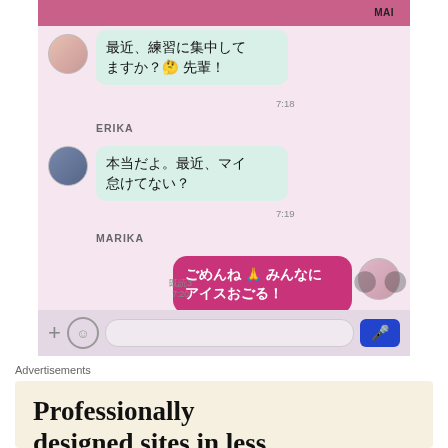[Figure (screenshot): Screenshot of a LINE-style messaging app chat between ERIKA, MARIKA, and MAI. ERIKA asks in Japanese: 最近、練習に集中してますか？先輩！ (7:18). MARIKA replies: 本当だよ。最近、マイ怠けてない？ (7:19). MAI replies: ごめんね みんなにアイスおごる！ (既読3, 7:20). Bottom toolbar shows + emoji smiley, text input, and microphone button.]
Advertisements
[Figure (infographic): Advertisement banner with beige/cream background showing text: Professionally designed sites in less than a week]